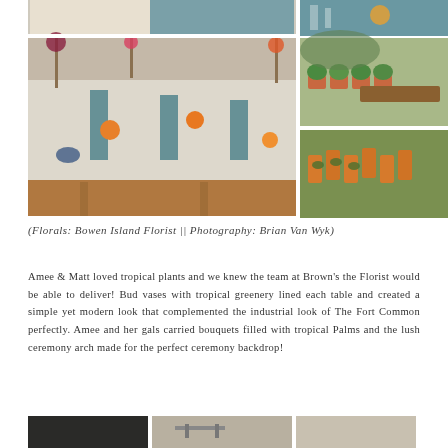[Figure (photo): Collage of wedding reception photos: large image on left showing table set with teal napkins, orange citrus decorations, and colorful flowers; top right shows drinks/glassware on teal tablecloth; bottom right top shows small potted succulents in terracotta pots with a wooden crate; bottom right shows orange escort card holders with greenery.]
(Florals: Bowen Island Florist || Photography: Brian Van Wyk)
Amee & Matt loved tropical plants and we knew the team at Brown's the Florist would be able to deliver! Bud vases with tropical greenery lined each table and created a simple yet modern look that complemented the industrial look of The Fort Common perfectly. Amee and her gals carried bouquets filled with tropical Palms and the lush ceremony arch made for the perfect ceremony backdrop!
[Figure (photo): Three partial images at bottom of page showing more wedding venue/reception details.]